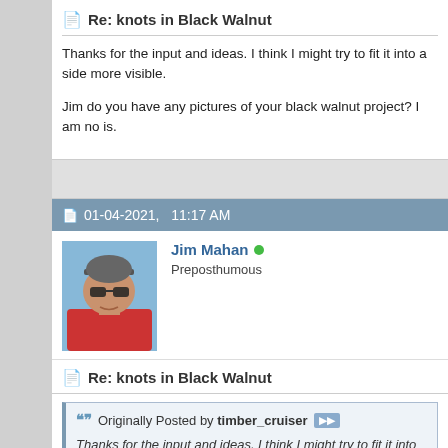Re: knots in Black Walnut
Thanks for the input and ideas. I think I might try to fit it into a side more visible.

Jim do you have any pictures of your black walnut project? I am no is.
01-04-2021,   11:17 AM
[Figure (photo): Avatar photo of Jim Mahan, a man with sunglasses and a cap wearing a red shirt, against a sky background]
Jim Mahan
Preposthumous
Re: knots in Black Walnut
Originally Posted by timber_cruiser
Thanks for the input and ideas. I think I might try to fit it into a side to make it more visible.

Jim do you have any pictures of your black walnut project? yewage knot is.